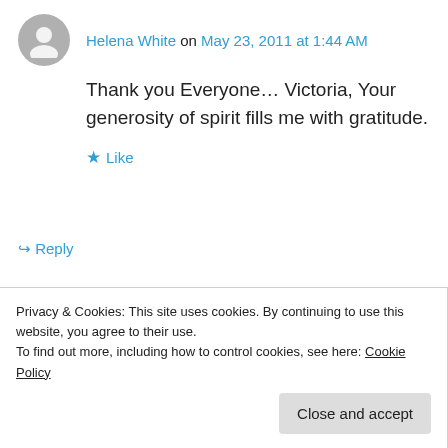Helena White on May 23, 2011 at 1:44 AM
Thank you Everyone… Victoria, Your generosity of spirit fills me with gratitude.
★ Like
↪ Reply
liv2write2day on May 23, 2011 at 2:53 AM
You're welcome. It was a pleasure
Privacy & Cookies: This site uses cookies. By continuing to use this website, you agree to their use.
To find out more, including how to control cookies, see here: Cookie Policy
Close and accept